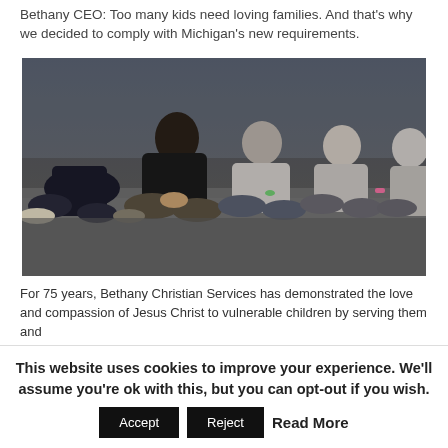Bethany CEO: Too many kids need loving families. And that's why we decided to comply with Michigan's new requirements.
[Figure (photo): Group of children sitting cross-legged on the ground, viewed from the waist down, at what appears to be an outdoor event.]
For 75 years, Bethany Christian Services has demonstrated the love and compassion of Jesus Christ to vulnerable children by serving them and
This website uses cookies to improve your experience. We'll assume you're ok with this, but you can opt-out if you wish.